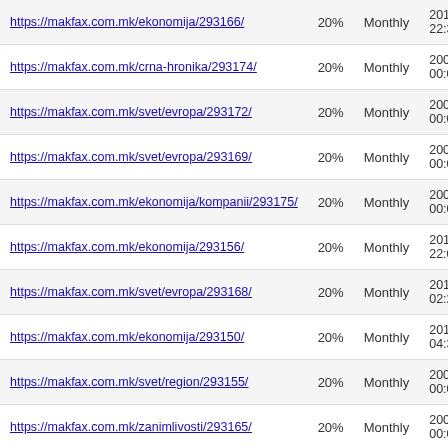| URL | Priority | Change Freq | Last Modified |
| --- | --- | --- | --- |
| https://makfax.com.mk/ekonomija/293166/ | 20% | Monthly | 2016
22:3 |
| https://makfax.com.mk/crna-hronika/293174/ | 20% | Monthly | 2001
00:0 |
| https://makfax.com.mk/svet/evropa/293172/ | 20% | Monthly | 2001
00:0 |
| https://makfax.com.mk/svet/evropa/293169/ | 20% | Monthly | 2001
00:0 |
| https://makfax.com.mk/ekonomija/kompanii/293175/ | 20% | Monthly | 2001
00:0 |
| https://makfax.com.mk/ekonomija/293156/ | 20% | Monthly | 2016
22:0 |
| https://makfax.com.mk/svet/evropa/293168/ | 20% | Monthly | 2016
02:2 |
| https://makfax.com.mk/ekonomija/293150/ | 20% | Monthly | 2016
04:3 |
| https://makfax.com.mk/svet/region/293155/ | 20% | Monthly | 2001
00:0 |
| https://makfax.com.mk/zanimlivosti/293165/ | 20% | Monthly | 2001
00:0 |
| https://makfax.com.mk/svet/region/293164/ | 20% | Monthly | 2016
06:1 |
| https://makfax.com.mk/makedonija/293163/ | 20% | Monthly | 2016
07:3 |
| https://makfax.com.mk/svet/evropa/293167/ | 20% | Monthly | 2001
00:0 |